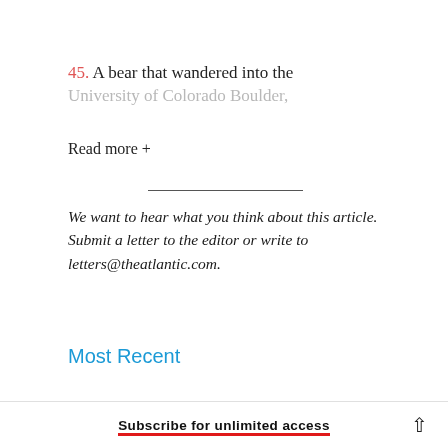45. A bear that wandered into the University of Colorado Boulder,
Read more +
We want to hear what you think about this article. Submit a letter to the editor or write to letters@theatlantic.com.
Most Recent
Subscribe for unlimited access